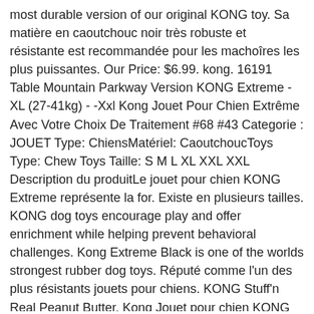most durable version of our original KONG toy. Sa matière en caoutchouc noir très robuste et résistante est recommandée pour les machoîres les plus puissantes. Our Price: $6.99. kong. 16191 Table Mountain Parkway Version KONG Extreme - XL (27-41kg) - -Xxl Kong Jouet Pour Chien Extrême Avec Votre Choix De Traitement #68 #43 Categorie : JOUET Type: ChiensMatériel: CaoutchoucToys Type: Chew Toys Taille: S M L XL XXL XXL Description du produitLe jouet pour chien KONG Extreme représente la for. Existe en plusieurs tailles. KONG dog toys encourage play and offer enrichment while helping prevent behavioral challenges. Kong Extreme Black is one of the worlds strongest rubber dog toys. Réputé comme l'un des plus résistants jouets pour chiens. KONG Stuff'n Real Peanut Butter. Kong Jouet pour chien KONG Extreme Taille : XL €23. Designed for the toughest of chewers, the KONG Extreme offers enrichment and helps satisfy dogs' instinctual needs. Recommended for supervised use only. Kong Extreme – XL K9 Kanteen Rating: $ 20.79. 5 watchers. Plus de détails . est le jouet le plus solide pour votre chien. The KONG unique, ultra-durable, rubber formula is designed for determined chewers,